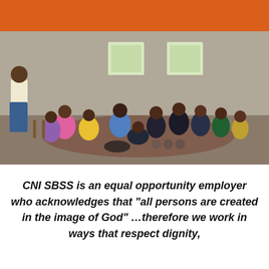[Figure (photo): A group of people sitting on the floor in a circle inside a plain concrete room with two windows. A man in a light shirt stands at the left addressing the seated group.]
CNI SBSS is an equal opportunity employer who acknowledges that “all persons are created in the image of God” …therefore we work in ways that respect dignity,